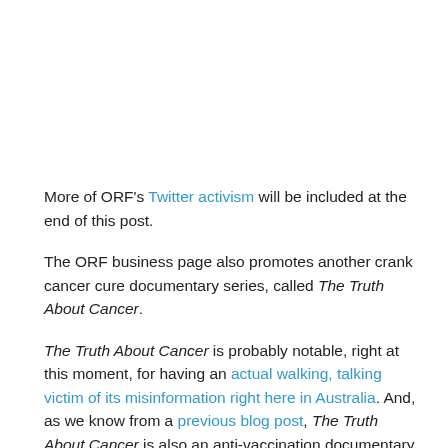More of ORF's Twitter activism will be included at the end of this post.
The ORF business page also promotes another crank cancer cure documentary series, called The Truth About Cancer.
The Truth About Cancer is probably notable, right at this moment, for having an actual walking, talking victim of its misinformation right here in Australia. And, as we know from a previous blog post, The Truth About Cancer is also an anti-vaccination documentary, with this review coming straight from an Australian anti-vaccination activist.
ORF doesn't limit itself to promoting the crank documentary just the once; the business promoted the series three times in April alone: